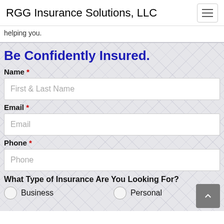RGG Insurance Solutions, LLC
helping you.
Be Confidently Insured.
Name *
First & Last Name
Email *
Email
Phone *
Phone
What Type of Insurance Are You Looking For?
Business
Personal